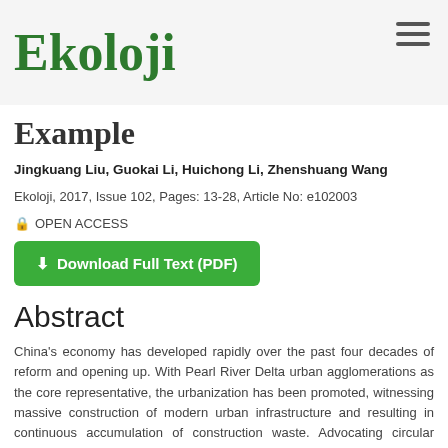Ekoloji
Example
Jingkuang Liu, Guokai Li, Huichong Li, Zhenshuang Wang
Ekoloji, 2017, Issue 102, Pages: 13-28, Article No: e102003
OPEN ACCESS
Download Full Text (PDF)
Abstract
China's economy has developed rapidly over the past four decades of reform and opening up. With Pearl River Delta urban agglomerations as the core representative, the urbanization has been promoted, witnessing massive construction of modern urban infrastructure and resulting in continuous accumulation of construction waste. Advocating circular economy development model is generally regarded